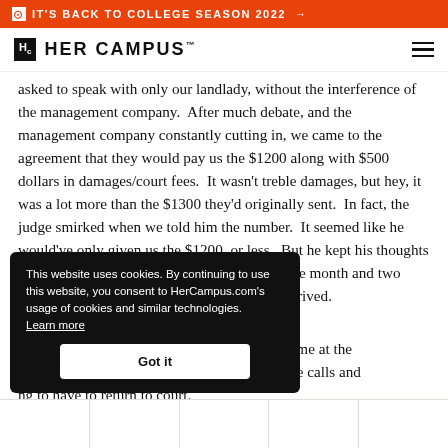IT'S BACK TO COLLEGE SEASON 2022 →
[Figure (logo): HerCampus logo with Hc icon and wordmark HER CAMPUS]
asked to speak with only our landlady, without the interference of the management company.  After much debate, and the management company constantly cutting in, we came to the agreement that they would pay us the $1200 along with $500 dollars in damages/court fees.  It wasn't treble damages, but hey, it was a lot more than the $1300 they'd originally sent.  In fact, the judge smirked when we told him the number.  It seemed like he would've only given us the $1200, or less.  But he kept his thoughts to himself, and instead gave us a court date one month and two weeks in the future in case the check hadn't arrived.
r check did not come at the
ong trail of phone calls and
ng to have to return to court.
te, my roommate called our
This website uses cookies. By continuing to use this website, you consent to HerCampus.com's usage of cookies and similar technologies. Learn more  Got it